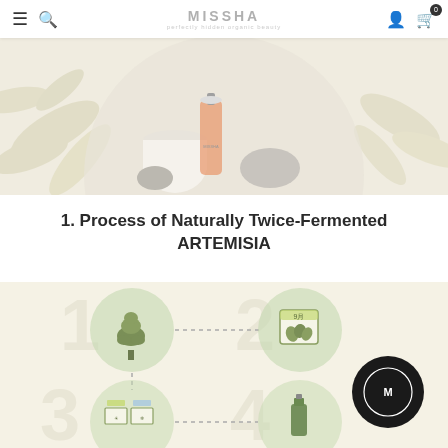MISSHA
[Figure (photo): Missha skincare product photo with botanical/leaf background, showing cream and serum bottles in a circular composition on a light beige background with plant leaves]
1. Process of Naturally Twice-Fermented ARTEMISIA
[Figure (infographic): Infographic showing 4-step process of naturally twice-fermented Artemisia. Step 1: tree/plant icon in green circle with large '1' watermark. Step 2: calendar/herb icon in green circle with large '2' watermark. Step 3: processing/equipment icons in green circle with large '3' watermark. Step 4: bottle icon in green circle with large '4' watermark. Dotted connecting lines between steps. Beige/cream background.]